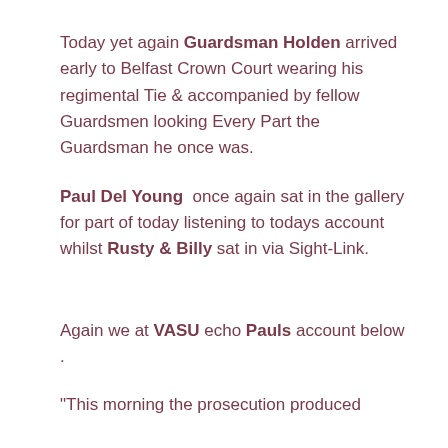Today yet again Guardsman Holden arrived early to Belfast Crown Court wearing his regimental Tie & accompanied by fellow Guardsmen looking Every Part the Guardsman he once was.
Paul Del Young  once again sat in the gallery for part of today listening to todays account whilst Rusty & Billy sat in via Sight-Link.
Again we at VASU echo Pauls account below .
“This morning the prosecution produced